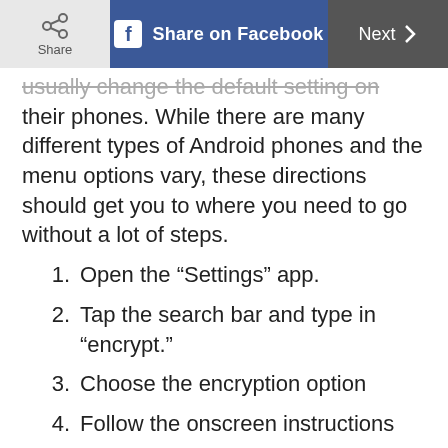Share | Share on Facebook | Next >
usually change the default setting on their phones. While there are many different types of Android phones and the menu options vary, these directions should get you to where you need to go without a lot of steps.
1. Open the “Settings” app.
2. Tap the search bar and type in “encrypt.”
3. Choose the encryption option
4. Follow the onscreen instructions
Some Android devices, such as certain